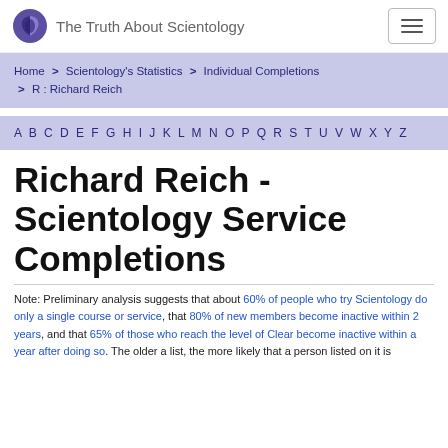The Truth About Scientology
Home > Scientology's Statistics > Individual Completions > R : Richard Reich
A B C D E F G H I J K L M N O P Q R S T U V W X Y Z
Richard Reich - Scientology Service Completions
Note: Preliminary analysis suggests that about 60% of people who try Scientology do only a single course or service, that 80% of new members become inactive within 2 years, and that 65% of those who reach the level of Clear become inactive within a year after doing so. The older a list, the more likely that a person listed on it is